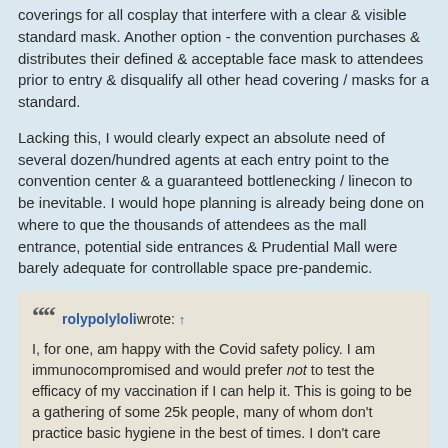coverings for all cosplay that interfere with a clear & visible standard mask. Another option - the convention purchases & distributes their defined & acceptable face mask to attendees prior to entry & disqualify all other head covering / masks for a standard.
Lacking this, I would clearly expect an absolute need of several dozen/hundred agents at each entry point to the convention center & a guaranteed bottlenecking / linecon to be inevitable. I would hope planning is already being done on where to que the thousands of attendees as the mall entrance, potential side entrances & Prudential Mall were barely adequate for controllable space pre-pandemic.
rolypolyloli wrote: ↑

I, for one, am happy with the Covid safety policy. I am immunocompromised and would prefer not to test the efficacy of my vaccination if I can help it. This is going to be a gathering of some 25k people, many of whom don't practice basic hygiene in the best of times. I don't care what the CDC says—they also wanted us to shorten quarantine just so that the corporate machine could have its cogs back with no regard for human health. Covid is far from gone, contrary to what many seem to believe, and an abundance of caution is the best course of action.

Thank you for considering the health and safety of all attendees, AB!